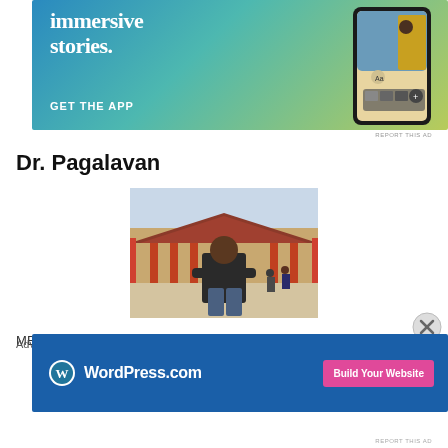[Figure (screenshot): App advertisement banner with blue-to-yellow gradient background, large white text 'immersive stories.' and 'GET THE APP', and a phone mockup on the right showing a reading app]
REPORT THIS AD
Dr. Pagalavan
[Figure (photo): A man standing with arms crossed in front of a traditional Korean palace (Gyeongbokgung), wearing a dark jacket and jeans]
MBBS(Mal.) MRCP(UK) FRCP(Edin) AM(Mal) FRACP
Advertisements
[Figure (screenshot): WordPress.com advertisement banner with blue background, WordPress logo, WordPress.com text, and 'Build Your Website' pink button]